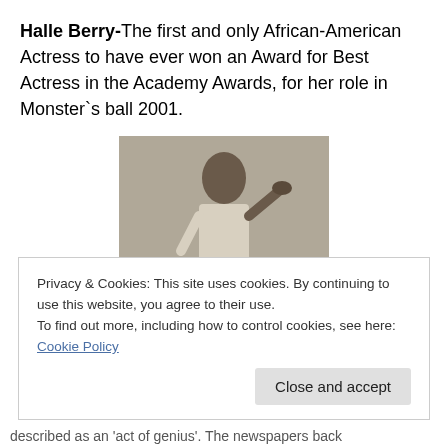Halle Berry- The first and only African-American Actress to have ever won an Award for Best Actress in the Academy Awards, for her role in Monster's ball 2001.
[Figure (photo): Black and white historical photograph of a person in white costume and boots in a theatrical pose]
Privacy & Cookies: This site uses cookies. By continuing to use this website, you agree to their use.
To find out more, including how to control cookies, see here: Cookie Policy
described as an 'act of genius'. The newspapers back